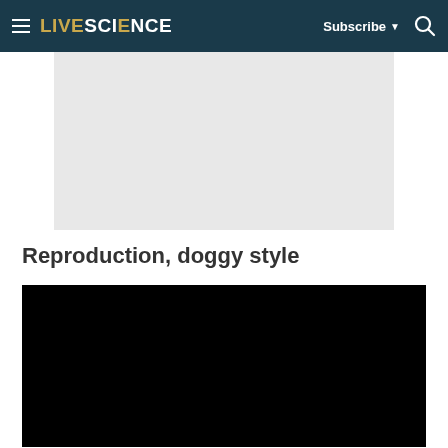LIVESCIENCE — Subscribe ▼ 🔍
[Figure (photo): Gray placeholder image area for an article image]
Reproduction, doggy style
[Figure (photo): Black video embed block]